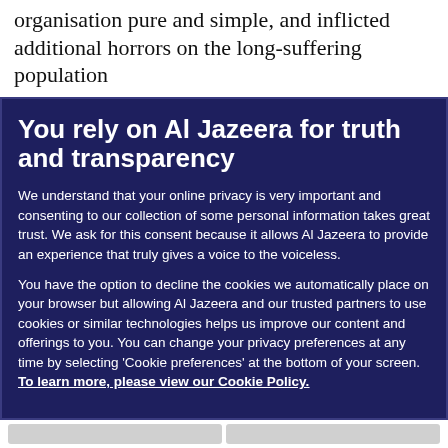organisation pure and simple, and inflicted additional horrors on the long-suffering population
You rely on Al Jazeera for truth and transparency
We understand that your online privacy is very important and consenting to our collection of some personal information takes great trust. We ask for this consent because it allows Al Jazeera to provide an experience that truly gives a voice to the voiceless.
You have the option to decline the cookies we automatically place on your browser but allowing Al Jazeera and our trusted partners to use cookies or similar technologies helps us improve our content and offerings to you. You can change your privacy preferences at any time by selecting 'Cookie preferences' at the bottom of your screen. To learn more, please view our Cookie Policy.